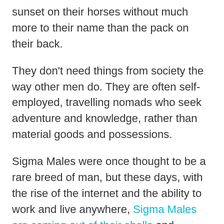sunset on their horses without much more to their name than the pack on their back.
They don't need things from society the way other men do. They are often self-employed, travelling nomads who seek adventure and knowledge, rather than material goods and possessions.
Sigma Males were once thought to be a rare breed of man, but these days, with the rise of the internet and the ability to work and live anywhere, Sigma Males are coming out of their shells and becoming more mainstream.
They are extremely attractive to women because they appear to be self-sufficient and capable of making